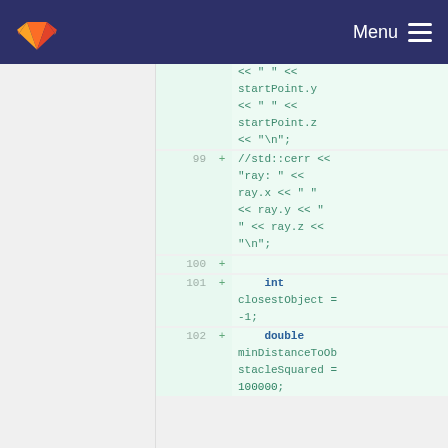GitLab Menu
<< " " << startPoint.y << " " << startPoint.z << "\n";
99 + //std::cerr << "ray: " << ray.x << " " << ray.y << " " << ray.z << "\n";
100 +
101 +     int closestObject = -1;
102 +     double minDistanceToObstacleSquared = 100000;